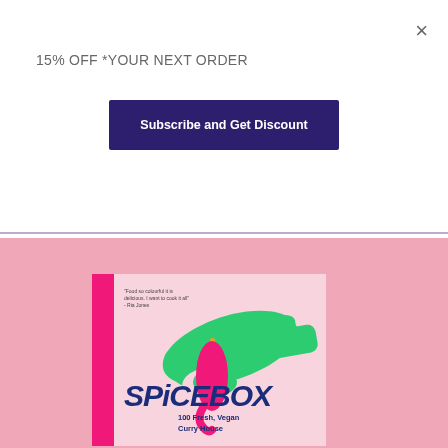×
15% OFF *YOUR NEXT ORDER
Subscribe and Get Discount
[Figure (photo): Book cover of SPICEBOX: 100 Fresh, Vegan Curry House recipes, featuring a green illustrated hand reaching down to hold a pink chili pepper, on a light pink background with a hot pink spine, shown against a pink background]